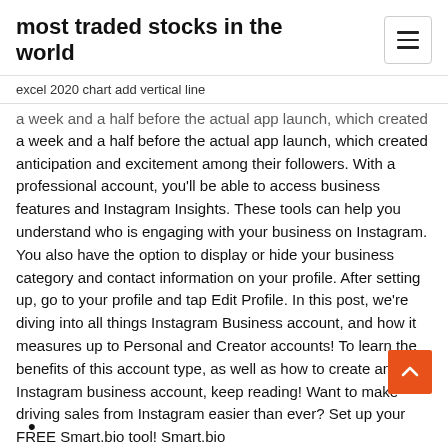most traded stocks in the world
excel 2020 chart add vertical line
a week and a half before the actual app launch, which created anticipation and excitement among their followers. With a professional account, you'll be able to access business features and Instagram Insights. These tools can help you understand who is engaging with your business on Instagram. You also have the option to display or hide your business category and contact information on your profile. After setting up, go to your profile and tap Edit Profile. In this post, we're diving into all things Instagram Business account, and how it measures up to Personal and Creator accounts! To learn the benefits of this account type, as well as how to create an Instagram business account, keep reading! Want to make driving sales from Instagram easier than ever? Set up your FREE Smart.bio tool! Smart.bio